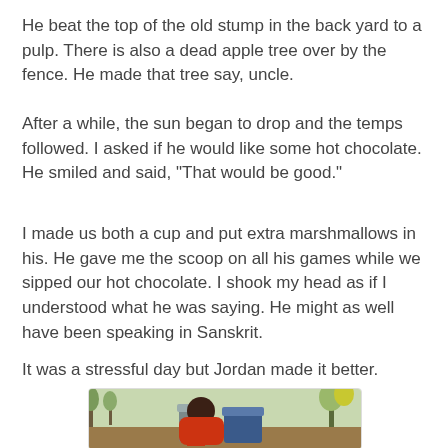He beat the top of the old stump in the back yard to a pulp. There is also a dead apple tree over by the fence. He made that tree say, uncle.
After a while, the sun began to drop and the temps followed. I asked if he would like some hot chocolate. He smiled and said, "That would be good."
I made us both a cup and put extra marshmallows in his. He gave me the scoop on all his games while we sipped our hot chocolate. I shook my head as if I understood what he was saying. He might as well have been speaking in Sanskrit.
It was a stressful day but Jordan made it better.
[Figure (photo): A young boy in a red hoodie leaning over gray trash cans in a backyard setting with trees and bushes in the background.]